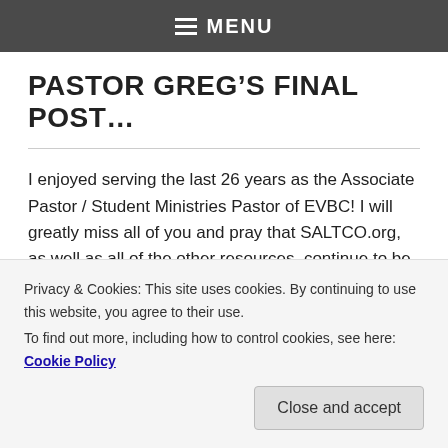MENU
PASTOR GREG'S FINAL POST...
I enjoyed serving the last 26 years as the Associate Pastor / Student Ministries Pastor of EVBC! I will greatly miss all of you and pray that SALTCO.org, as well as all of the other resources, continue to be a blessing and
Privacy & Cookies: This site uses cookies. By continuing to use this website, you agree to their use.
To find out more, including how to control cookies, see here: Cookie Policy
Close and accept